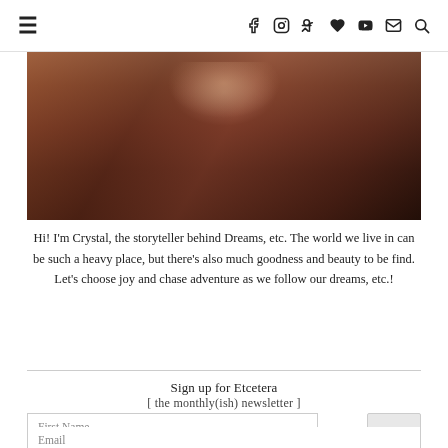≡  f  instagram  pinterest  heart  youtube  mail  search
[Figure (photo): Close-up photo of a woman with auburn/brown wavy hair wearing a dark top, photographed from chin level, showing hair and shoulders.]
Hi! I'm Crystal, the storyteller behind Dreams, etc. The world we live in can be such a heavy place, but there's also much goodness and beauty to be find. Let's choose joy and chase adventure as we follow our dreams, etc.!
Sign up for Etcetera
[ the monthly(ish) newsletter ]
First Name
Email
I agree to receive email updates and promotions.